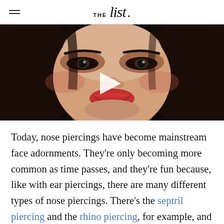THE list.
[Figure (photo): Close-up photo of a young woman's face with dark hair, dramatic eye makeup, and red lips on a dark background, with a video play button overlay]
Today, nose piercings have become mainstream face adornments. They're only becoming more common as time passes, and they're fun because, like with ear piercings, there are many different types of nose piercings. There's the septril piercing and the rhino piercing, for example, and we've also got you covered with our guide on how to best clean and care for your